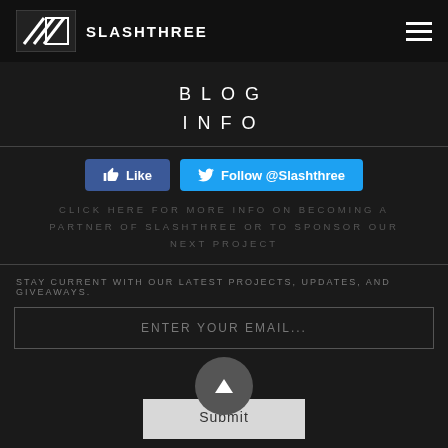SLASHTHREE
BLOG
INFO
Like
Follow @Slashthree
CLICK HERE FOR MORE INFO ON BECOMING A PARTNER OF SLASHTHREE OR TO SPONSOR OUR NEXT PROJECT
STAY CURRENT WITH OUR LATEST PROJECTS, UPDATES, AND GIVEAWAYS.
ENTER YOUR EMAIL...
Submit